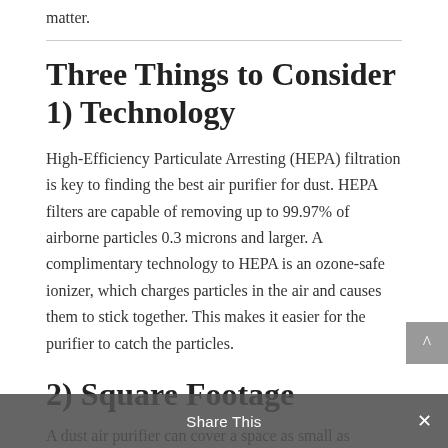matter.
Three Things to Consider
1) Technology
High-Efficiency Particulate Arresting (HEPA) filtration is key to finding the best air purifier for dust. HEPA filters are capable of removing up to 99.97% of airborne particles 0.3 microns and larger. A complimentary technology to HEPA is an ozone-safe ionizer, which charges particles in the air and causes them to stick together. This makes it easier for the purifier to catch the particles.
2) Square Footage
A dust air purifier can cover a space as small as